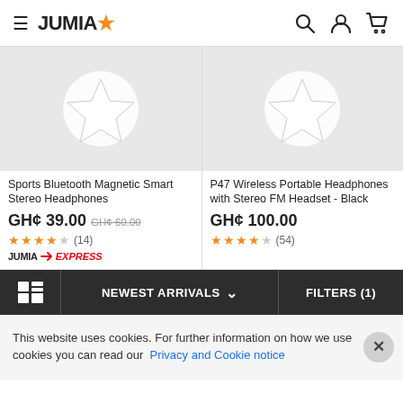JUMIA
[Figure (screenshot): Product card for Sports Bluetooth Magnetic Smart Stereo Headphones with placeholder star icon image]
Sports Bluetooth Magnetic Smart Stereo Headphones
GH¢ 39.00  GH¢ 60.00
★★★★☆ (14)
JUMIA EXPRESS
[Figure (screenshot): Product card for P47 Wireless Portable Headphones with Stereo FM Headset - Black with placeholder star icon image]
P47 Wireless Portable Headphones with Stereo FM Headset - Black
GH¢ 100.00
★★★★☆ (54)
NEWEST ARRIVALS  FILTERS (1)
This website uses cookies. For further information on how we use cookies you can read our Privacy and Cookie notice